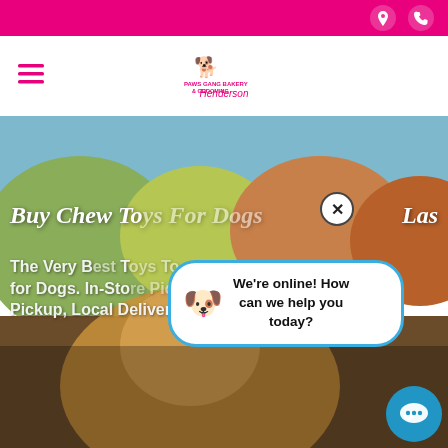Top navigation bar with location and phone icons (pink background)
[Figure (logo): Paws Gang Bakery & Grooming Henderson logo with two dog silhouettes in pink]
[Figure (photo): A golden/mixed breed dog outdoors with autumn foliage background, serving as a hero image]
Buy Chew Toys For Dogs Las
The Very Best Toys for Dogs. In-Store Pickup, Curbside Pickup, Local Delivery, Same Day
[Figure (infographic): Chat popup bubble with dog emoji icon saying 'We're online! How can we help you today?' with a blue close X button and a blue chat button in the corner]